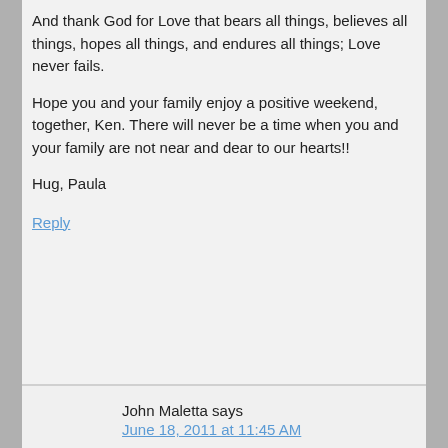And thank God for Love that bears all things, believes all things, hopes all things, and endures all things; Love never fails.
Hope you and your family enjoy a positive weekend, together, Ken. There will never be a time when you and your family are not near and dear to our hearts!!
Hug, Paula
Reply
John Maletta says
June 18, 2011 at 11:45 AM
Ken, seeing this video just gives me even more incentive to continue to help raise